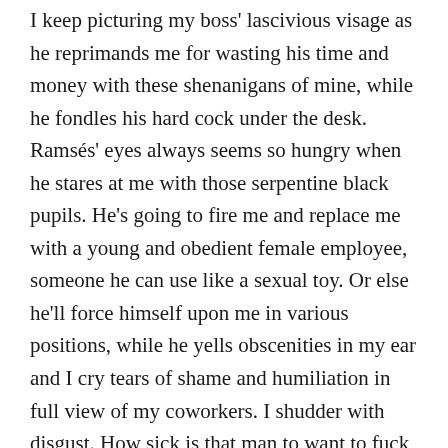I keep picturing my boss' lascivious visage as he reprimands me for wasting his time and money with these shenanigans of mine, while he fondles his hard cock under the desk. Ramsés' eyes always seems so hungry when he stares at me with those serpentine black pupils. He's going to fire me and replace me with a young and obedient female employee, someone he can use like a sexual toy. Or else he'll force himself upon me in various positions, while he yells obscenities in my ear and I cry tears of shame and humiliation in full view of my coworkers. I shudder with disgust. How sick is that man to want to fuck a woman right next to her colleagues?! And why does he want to fuck me so badly anyway?!